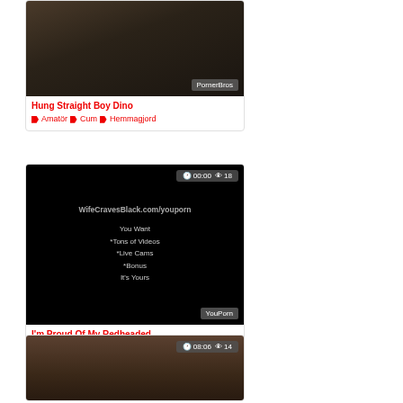[Figure (photo): Thumbnail image for video 'Hung Straight Boy Dino' with PornerBros watermark]
Hung Straight Boy Dino 🏷 Amatör 🏷 Cum 🏷 Hemmagjord
[Figure (photo): Thumbnail for 'I'm Proud Of My Redheaded' video, black background with WifeCravesBlack.com/youporn text overlay. Duration 00:00, 18 views. YouPorn badge.]
I'm Proud Of My Redheaded 🏷 Svart 🏷 Cum 🏷 Cumshot 🏷 Facial 🏷 Underkläder 🏷
[Figure (photo): Thumbnail for third video, duration 08:06, 14 views, showing a person]